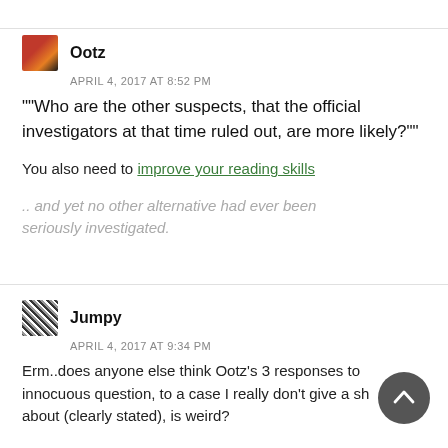[Figure (other): Avatar image for user Ootz — small square photo with warm reddish tones]
Ootz
APRIL 4, 2017 AT 8:52 PM
""Who are the other suspects, that the official investigators at that time ruled out, are more likely?""
You also need to improve your reading skills
.. and yet no other alternative had ever been seriously investigated.
[Figure (other): Avatar image for user Jumpy — small square pixel/QR-code style icon]
Jumpy
APRIL 4, 2017 AT 9:34 PM
Erm..does anyone else think Ootz's 3 responses to innocuous question, to a case I really don't give a sh about (clearly stated), is weird?